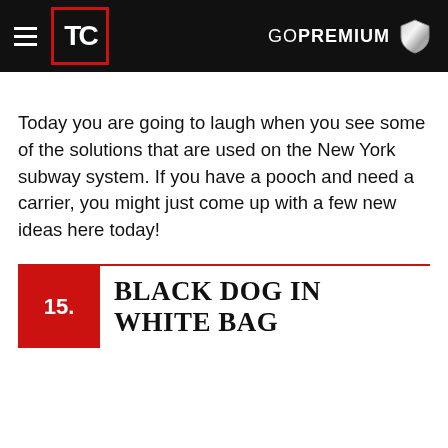TC  GOPREMIUM
Today you are going to laugh when you see some of the solutions that are used on the New York subway system. If you have a pooch and need a carrier, you might just come up with a few new ideas here today!
15. BLACK DOG IN WHITE BAG